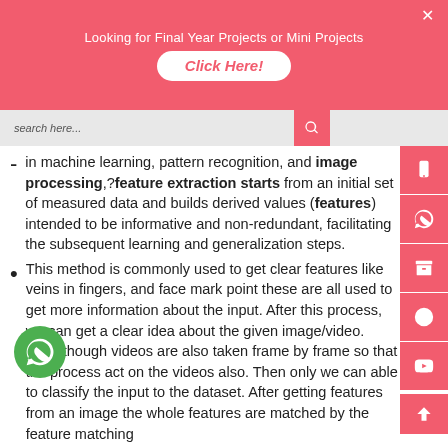[Figure (screenshot): Red promotional banner: 'Looking for Final Year Projects or Mini Projects' with a white rounded button labeled 'Click Here!' in red italic bold text, and an X close button in top right.]
[Figure (screenshot): Search bar with placeholder 'search here...' and a red search icon button on the right, with red social media sidebar icons on the far right.]
in machine learning, pattern recognition, and image processing, feature extraction starts from an initial set of measured data and builds derived values (features) intended to be informative and non-redundant, facilitating the subsequent learning and generalization steps.
This method is commonly used to get clear features like veins in fingers, and face mark points these are all used to get more information about the input. After this process, we can get a clear idea about the given image/video. Even though videos are also taken frame by frame so that the process act on the videos also. Then only we can able to classify the input to the dataset. After getting features from an image the whole features are matched by the feature matching